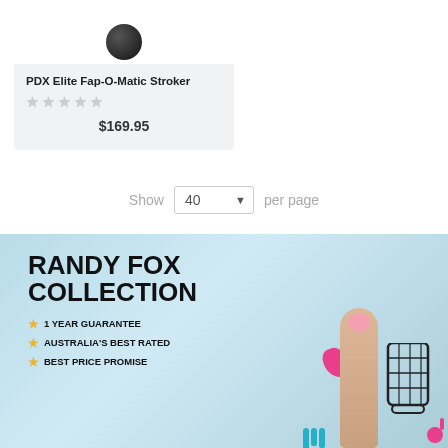[Figure (photo): Product card for PDX Elite Fap-O-Matic Stroker with grey star rating and price $169.95 on light grey background]
PDX Elite Fap-O-Matic Stroker
$169.95
Show 40 per page
[Figure (photo): Randy Fox Collection banner ad with light blue background showing product toys and text: RANDY FOX COLLECTION, 1 YEAR GUARANTEE, AUSTRALIA'S BEST RATED, BEST PRICE PROMISE]